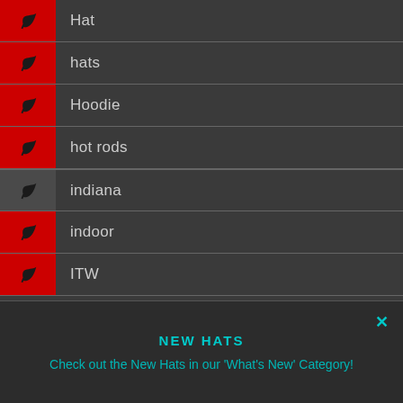Hat
hats
Hoodie
hot rods
indiana
indoor
ITW
NEW HATS
Check out the New Hats in our 'What's New' Category!